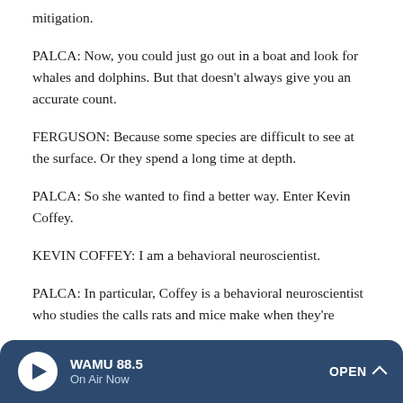mitigation.
PALCA: Now, you could just go out in a boat and look for whales and dolphins. But that doesn't always give you an accurate count.
FERGUSON: Because some species are difficult to see at the surface. Or they spend a long time at depth.
PALCA: So she wanted to find a better way. Enter Kevin Coffey.
KEVIN COFFEY: I am a behavioral neuroscientist.
PALCA: In particular, Coffey is a behavioral neuroscientist who studies the calls rats and mice make when they're
WAMU 88.5 On Air Now OPEN ^